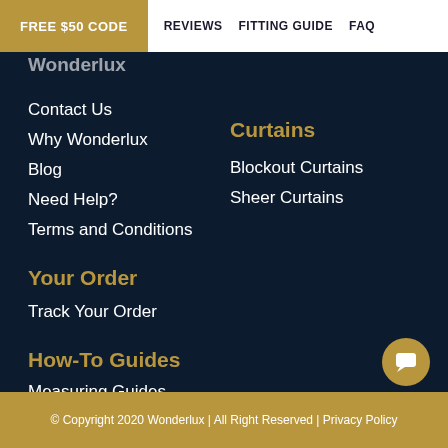FREE $50 CODE   REVIEWS   FITTING GUIDE   FAQ
Wonderlux
Contact Us
Why Wonderlux
Blog
Need Help?
Terms and Conditions
Curtains
Blockout Curtains
Sheer Curtains
Your Order
Track Your Order
How-To Guides
Measuring Guides
Installation Guides
© Copyright 2020 Wonderlux | All Right Reserved | Privacy Policy